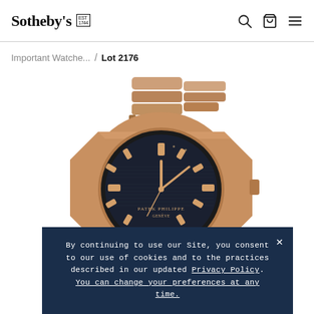Sotheby's EST 1744
Important Watche... / Lot 2176
[Figure (photo): Close-up photo of a Patek Philippe Nautilus watch in rose gold with dark dial and integrated bracelet]
By continuing to use our Site, you consent to our use of cookies and to the practices described in our updated Privacy Policy. You can change your preferences at any time.